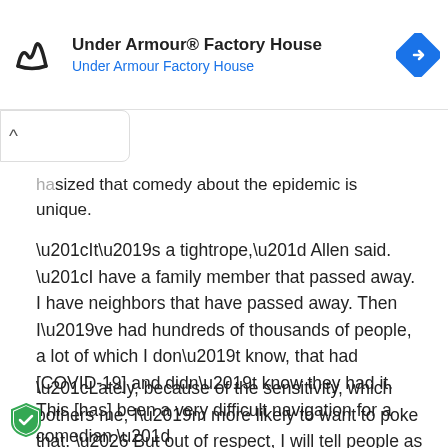[Figure (other): Under Armour Factory House advertisement banner with Under Armour logo on left, title text, and blue navigation diamond icon on right]
hasized that comedy about the epidemic is unique.
“It’s a tightrope,” Allen said. “I have a family member that passed away. I have neighbors that have passed away. Then I’ve had hundreds of thousands of people, a lot of which I don’t know, that had [COVID-19] and didn’t know they had it. This [has] been a very difficult navigation for a comedian.”
“Lately, because of the sensitivity, which bothers me, I’m more likely to want to poke that. … But out of respect, I will tell people as an adult